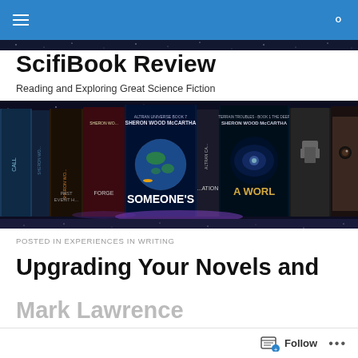ScifiBook Review navigation bar
[Figure (photo): Banner image showing a row of science fiction book covers by Sheron Wood McCartha and others, displayed against a dark starfield background. Visible titles include Past Event Horizon, Someone's, A World, and others.]
ScifiBook Review
Reading and Exploring Great Science Fiction
POSTED IN EXPERIENCES IN WRITING
Upgrading Your Novels and Mark Lawrence